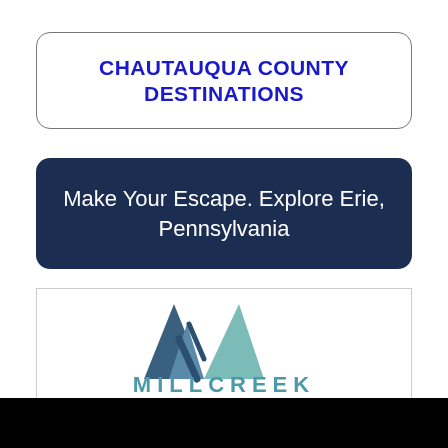CHAUTAUQUA COUNTY DESTINATIONS
Make Your Escape. Explore Erie, Pennsylvania
[Figure (logo): Millcreek Mall Complex logo with teal/slate triangle graphic above stylized text reading MILLCREEK MALL COMPLEX]